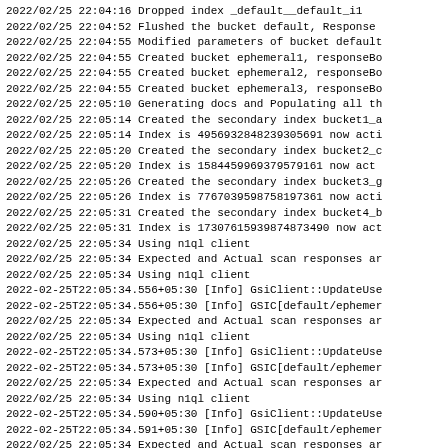2022/02/25 22:04:16 Dropped index _default__default_i1
2022/02/25 22:04:52 Flushed the bucket default, Response
2022/02/25 22:04:55 Modified parameters of bucket default
2022/02/25 22:04:55 Created bucket ephemeral1, responseBo
2022/02/25 22:04:55 Created bucket ephemeral2, responseBo
2022/02/25 22:04:55 Created bucket ephemeral3, responseBo
2022/02/25 22:05:10 Generating docs and Populating all th
2022/02/25 22:05:14 Created the secondary index bucket1_a
2022/02/25 22:05:14 Index is 4956932848239305691 now acti
2022/02/25 22:05:20 Created the secondary index bucket2_c
2022/02/25 22:05:20 Index is 1584459969379579161 now act
2022/02/25 22:05:26 Created the secondary index bucket3_g
2022/02/25 22:05:26 Index is 7767039598758197361 now acti
2022/02/25 22:05:31 Created the secondary index bucket4_b
2022/02/25 22:05:31 Index is 17307615939874873490 now act
2022/02/25 22:05:34 Using n1ql client
2022/02/25 22:05:34 Expected and Actual scan responses ar
2022/02/25 22:05:34 Using n1ql client
2022-02-25T22:05:34.556+05:30 [Info] GsiClient::UpdateUse
2022-02-25T22:05:34.556+05:30 [Info] GSIC[default/ephemer
2022/02/25 22:05:34 Expected and Actual scan responses ar
2022/02/25 22:05:34 Using n1ql client
2022-02-25T22:05:34.573+05:30 [Info] GsiClient::UpdateUse
2022-02-25T22:05:34.573+05:30 [Info] GSIC[default/ephemer
2022/02/25 22:05:34 Expected and Actual scan responses ar
2022/02/25 22:05:34 Using n1ql client
2022-02-25T22:05:34.590+05:30 [Info] GsiClient::UpdateUse
2022-02-25T22:05:34.591+05:30 [Info] GSIC[default/ephemer
2022/02/25 22:05:34 Expected and Actual scan responses ar
2022/02/25 22:05:36 Deleted bucket ephemeral1, responseB